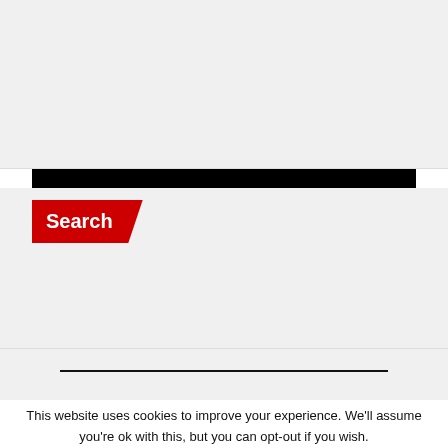[Figure (screenshot): Black banner with a red 'Join now' button with a right arrow chevron]
Search
[Figure (screenshot): Search input box with a red search icon button on the right]
This website uses cookies to improve your experience. We'll assume you're ok with this, but you can opt-out if you wish.
Cookie settings  ACCEPT